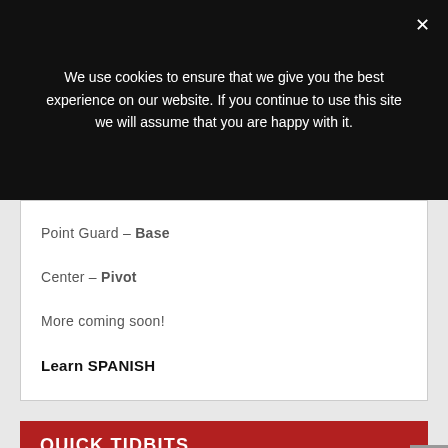We use cookies to ensure that we give you the best experience on our website. If you continue to use this site we will assume that you are happy with it.
Point Guard – Base
Center – Pivot
More coming soon!
Learn SPANISH
QUICK TIDBITS
With the marks of top Spanish National teams